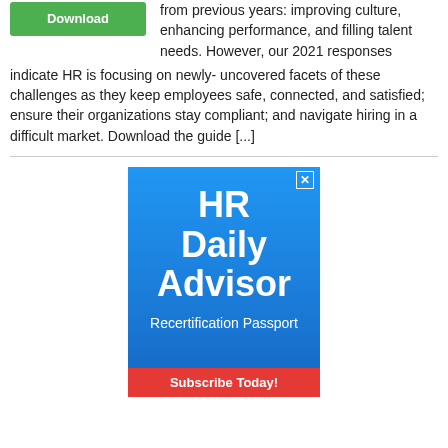[Figure (other): Green Download button]
from previous years: improving culture, enhancing performance, and filling talent needs. However, our 2021 responses indicate HR is focusing on newly- uncovered facets of these challenges as they keep employees safe, connected, and satisfied; ensure their organizations stay compliant; and navigate hiring in a difficult market. Download the guide [...]
[Figure (other): Advertisement banner for HR Daily Advisor Recertification Passport with a Subscribe Today button]